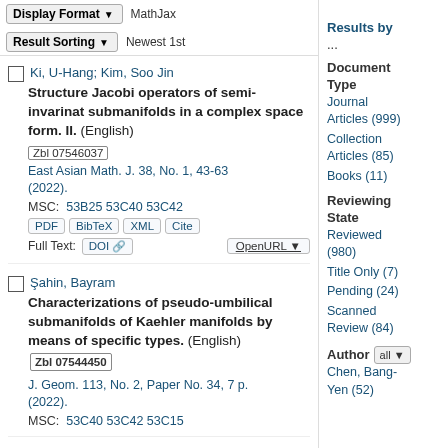Display Format ▼  MathJax
Result Sorting ▼  Newest 1st
Results by ...
Document Type
Journal Articles (999)
Collection Articles (85)
Books (11)
Reviewing State
Reviewed (980)
Title Only (7)
Pending (24)
Scanned Review (84)
Author  all ▼
Chen, Bang-Yen (52)
Ki, U-Hang; Kim, Soo Jin
Structure Jacobi operators of semi-invarinat submanifolds in a complex space form. II. (English)
Zbl 07546037
East Asian Math. J. 38, No. 1, 43-63 (2022).
MSC: 53B25 53C40 53C42
Şahin, Bayram
Characterizations of pseudo-umbilical submanifolds of Kaehler manifolds by means of specific types. (English) Zbl 07544450
J. Geom. 113, No. 2, Paper No. 34, 7 p. (2022).
MSC: 53C40 53C42 53C15